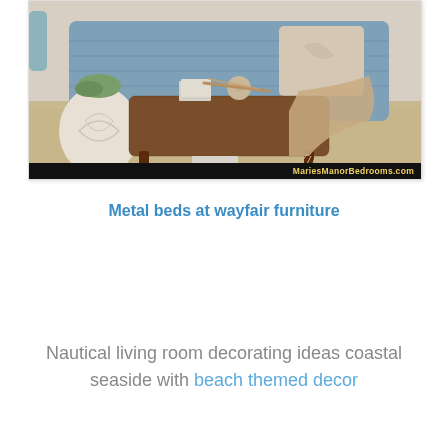[Figure (photo): A coastal/nautical styled bedroom scene showing a wicker bench with decorative items including books, a sphere, and driftwood on a jute rug. Behind it is a sofa covered with a blue and white patterned throw blanket and a neutral pillow. A tan fringed throw is draped over the bench arm. To the left is a white decorative vase/planter with a green plant. A watermark bar at the bottom reads 'MariesManorBedrooms.com' in yellow on black.]
Metal beds at wayfair furniture
Nautical living room decorating ideas coastal seaside with beach themed decor